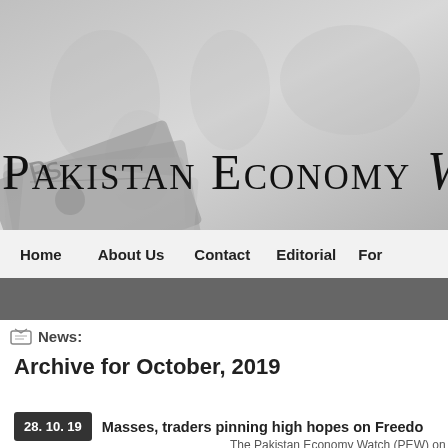[Figure (illustration): Pakistan Economy Watch website banner header with world map background and Pakistani currency notes scattered, showing site title 'Pakistan Economy Watch']
Pakistan Economy Watch
Home   About Us   Contact   Editorial   For...
News:
Archive for October, 2019
28. 10. 19   Masses, traders pinning high hopes on Freedom...
The Pakistan Economy Watch (PEW) on Sunday said the...